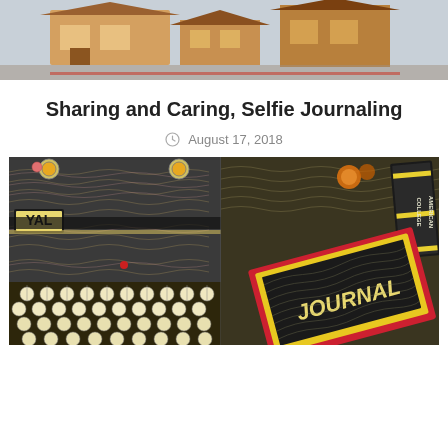[Figure (photo): Top partial photo showing what appears to be a house or building exterior with warm brown tones, cropped at top of page]
Sharing and Caring, Selfie Journaling
August 17, 2018
[Figure (photo): Artistic/stylized image showing a vintage Royal typewriter (with YAL visible on the side) on the left half and a journal book labeled JOURNAL on the right half, both rendered with a sketch/cartoon effect with yellow, black, pink, and green tones. Also visible: THE AMERICAN COLLEGE text on a book spine in upper right.]